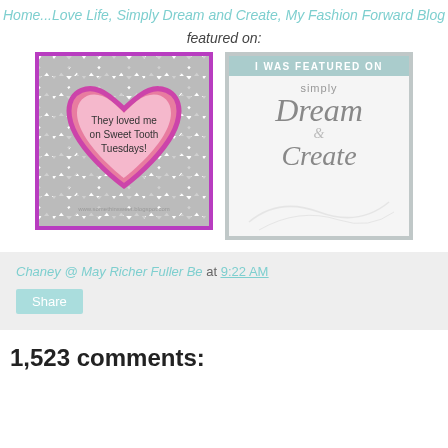Home...Love Life, Simply Dream and Create, My Fashion Forward Blog
featured on:
[Figure (illustration): Badge reading 'They loved me on Sweet Tooth Tuesdays!' with pink heart on chevron background with purple border]
[Figure (illustration): Badge reading 'I WAS FEATURED ON simply Dream & Create' with grey and white design]
Chaney @ May Richer Fuller Be at 9:22 AM
Share
1,523 comments: